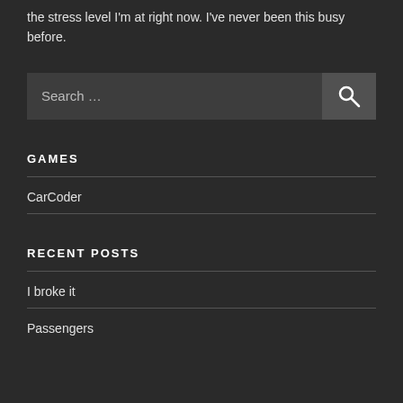the stress level I'm at right now. I've never been this busy before.
[Figure (other): Search bar with text 'Search …' and a search button with magnifying glass icon]
GAMES
CarCoder
RECENT POSTS
I broke it
Passengers